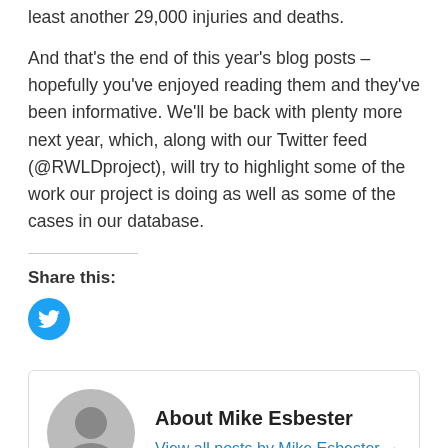least another 29,000 injuries and deaths.
And that's the end of this year's blog posts – hopefully you've enjoyed reading them and they've been informative. We'll be back with plenty more next year, which, along with our Twitter feed (@RWLDproject), will try to highlight some of the work our project is doing as well as some of the cases in our database.
Share this:
[Figure (logo): Twitter share button — circular cyan button with white Twitter bird icon]
About Mike Esbester
View all posts by Mike Esbester →
🏷 1912, 1913, goods guard, Great Northern Railway,